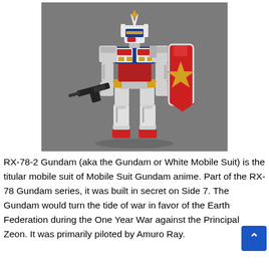[Figure (photo): A Gundam RX-78-2 model figure (mobile suit) standing upright against a grey background. The figure is mostly white with red feet, blue and red chest armor, yellow accents, holding a black gun/rifle in the left hand and a red and white shield on the right arm. White head with antennae.]
RX-78-2 Gundam (aka the Gundam or White Mobile Suit) is the titular mobile suit of Mobile Suit Gundam anime. Part of the RX-78 Gundam series, it was built in secret on Side 7. The Gundam would turn the tide of war in favor of the Earth Federation during the One Year War against the Principal Zeon. It was primarily piloted by Amuro Ray.